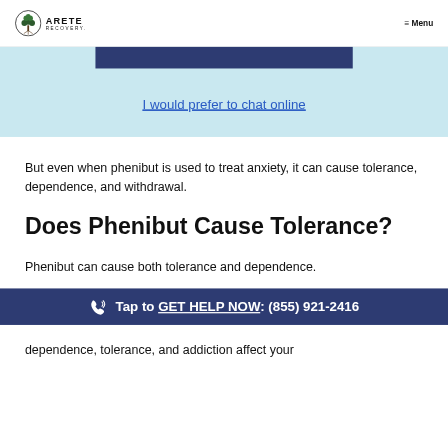ARETE RECOVERY   ≡ Menu
[Figure (screenshot): Dark blue button/bar partially visible at top of light blue banner section]
I would prefer to chat online
But even when phenibut is used to treat anxiety, it can cause tolerance, dependence, and withdrawal.
Does Phenibut Cause Tolerance?
Phenibut can cause both tolerance and dependence.
Tap to GET HELP NOW: (855) 921-2416
dependence, tolerance, and addiction affect your